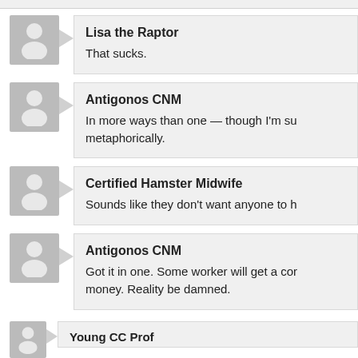Lisa the Raptor: That sucks.
Antigonos CNM: In more ways than one — though I'm su... metaphorically.
Certified Hamster Midwife: Sounds like they don't want anyone to h...
Antigonos CNM: Got it in one. Some worker will get a co... money. Reality be damned.
Young CC Prof (partial)